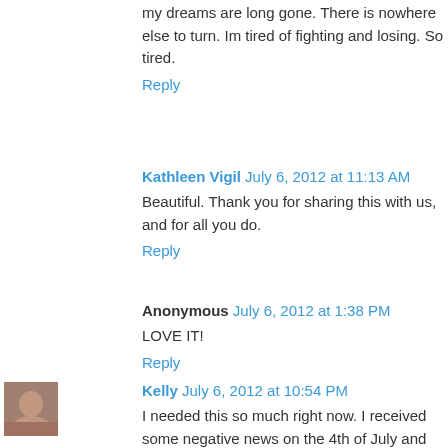my dreams are long gone. There is nowhere else to turn. Im tired of fighting and losing. So tired.
Reply
Kathleen Vigil July 6, 2012 at 11:13 AM
Beautiful. Thank you for sharing this with us, and for all you do.
Reply
Anonymous July 6, 2012 at 1:38 PM
LOVE IT!
Reply
Kelly July 6, 2012 at 10:54 PM
I needed this so much right now. I received some negative news on the 4th of July and have felt lost about everything for the past couples. This post really helped. Thank you!!